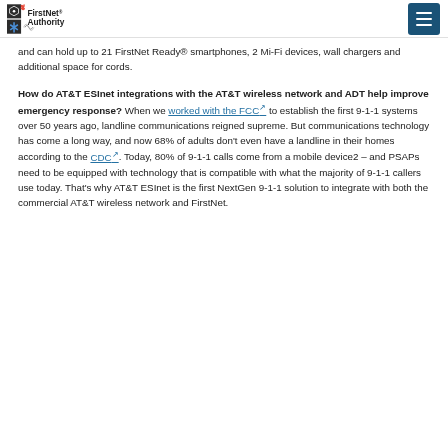FirstNet Authority
and can hold up to 21 FirstNet Ready® smartphones, 2 Mi-Fi devices, wall chargers and additional space for cords.
How do AT&T ESInet integrations with the AT&T wireless network and ADT help improve emergency response? When we worked with the FCC to establish the first 9-1-1 systems over 50 years ago, landline communications reigned supreme. But communications technology has come a long way, and now 68% of adults don't even have a landline in their homes according to the CDC. Today, 80% of 9-1-1 calls come from a mobile device2 – and PSAPs need to be equipped with technology that is compatible with what the majority of 9-1-1 callers use today. That's why AT&T ESInet is the first NextGen 9-1-1 solution to integrate with both the commercial AT&T wireless network and FirstNet.